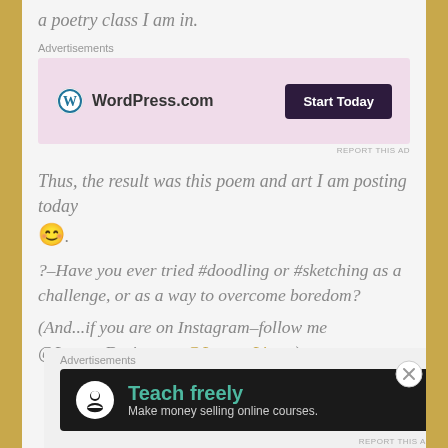a poetry class I am in.
[Figure (other): WordPress.com advertisement banner with pink background, WordPress logo, and 'Start Today' dark button]
Thus, the result was this poem and art I am posting today 😊.
?–Have you ever tried #doodling or #sketching as a challenge, or as a way to overcome boredom?
(And...if you are on Instagram–follow me @LeonasDesigns or @LeonasLines )
[Figure (other): Teach freely – Make money selling online courses. Dark background advertisement banner.]